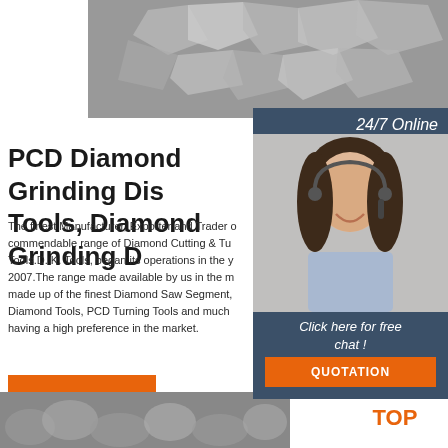[Figure (photo): Close-up macro photo of rough diamond/abrasive particles, grayscale, top of page]
PCD Diamond Grinding Disc Tools, Diamond Grinding D
The finest Manufacturer, Exporter and Trader of commendable range of Diamond Cutting & Turning Tools.D. K. Tools, began its operations in the year 2007.The range made available by us in the market made up of the finest Diamond Saw Segment, Diamond Tools, PCD Turning Tools and much having a high preference in the market.
[Figure (photo): 24/7 online customer support agent - woman with headset smiling, overlaid on dark blue panel with chat and quotation button]
Get Price
[Figure (logo): TOP logo with orange dots forming an upward arrow above the word TOP in orange]
[Figure (photo): Close-up grayscale photo of diamond/abrasive grinding tools at the bottom of the page]